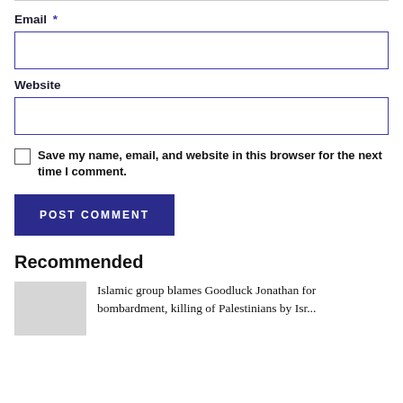Email *
[Figure (other): Empty text input box for Email field]
Website
[Figure (other): Empty text input box for Website field]
Save my name, email, and website in this browser for the next time I comment.
POST COMMENT
Recommended
Islamic group blames Goodluck Jonathan for bombardment, killing of Palestinians by Israel